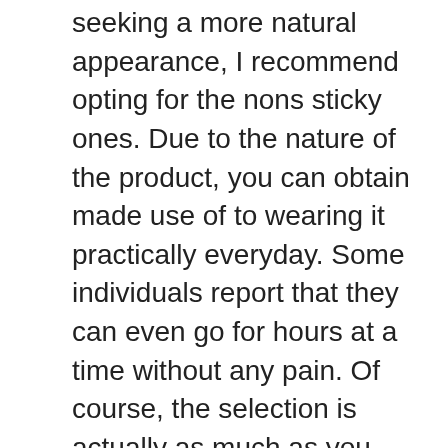seeking a more natural appearance, I recommend opting for the nons sticky ones. Due to the nature of the product, you can obtain made use of to wearing it practically everyday. Some individuals report that they can even go for hours at a time without any pain. Of course, the selection is actually as much as you, and also what is more important to you: increasing your sexual endurance or sensation excellent regarding your member?
Lastly is the penis enhancement surgical procedure course. This entails cutting into your penis as well as pulling it out by the origin, allegedly boosting the penis in length as well as girth. Numerous respectable doctors have actually done these operations